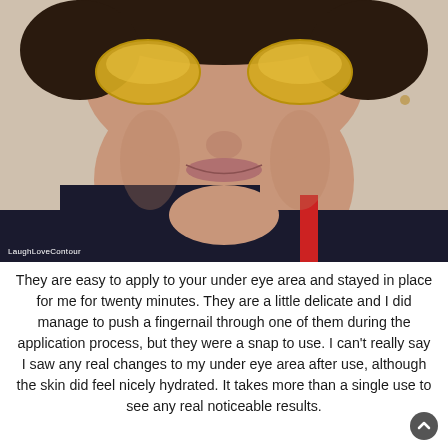[Figure (photo): Close-up photo of a woman wearing gold under-eye patches/masks, resting her chin on her hand, wearing a dark top with a red strap visible. Watermark reads 'LaughLoveContour' in the bottom left corner.]
They are easy to apply to your under eye area and stayed in place for me for twenty minutes. They are a little delicate and I did manage to push a fingernail through one of them during the application process, but they were a snap to use. I can't really say I saw any real changes to my under eye area after use, although the skin did feel nicely hydrated. It takes more than a single use to see any real noticeable results.